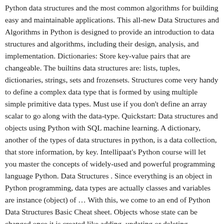Python data structures and the most common algorithms for building easy and maintainable applications. This all-new Data Structures and Algorithms in Python is designed to provide an introduction to data structures and algorithms, including their design, analysis, and implementation. Dictionaries: Store key-value pairs that are changeable. The builtins data structures are: lists, tuples, dictionaries, strings, sets and frozensets. Structures come very handy to define a complex data type that is formed by using multiple simple primitive data types. Must use if you don't define an array scalar to go along with the data-type. Quickstart: Data structures and objects using Python with SQL machine learning. A dictionary, another of the types of data structures in python, is a data collection, that store information, by key. Intellipaat's Python course will let you master the concepts of widely-used and powerful programming language Python. Data Structures . Since everything is an object in Python programming, data types are actually classes and variables are instance (object) of … With this, we come to an end of Python Data Structures Basic Cheat sheet. Objects whose state can be changed once it is created like adding, updating or deleting elements. Data